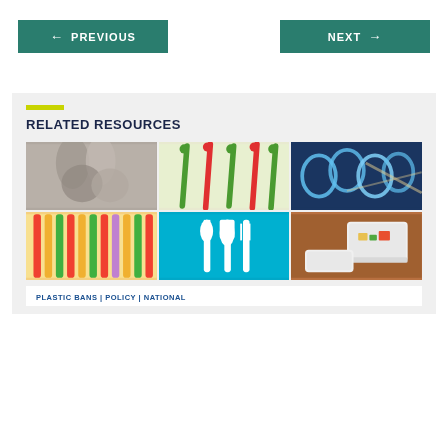[Figure (other): PREVIOUS navigation button with left arrow]
[Figure (other): NEXT navigation button with right arrow]
RELATED RESOURCES
[Figure (photo): Grid of 6 photos: plastic bags (grayscale), colorful plastic sticks/swabs, plastic six-pack rings on blue background, colorful plastic straws, white plastic cutlery on blue background, styrofoam food container with food]
PLASTIC BANS | POLICY | NATIONAL